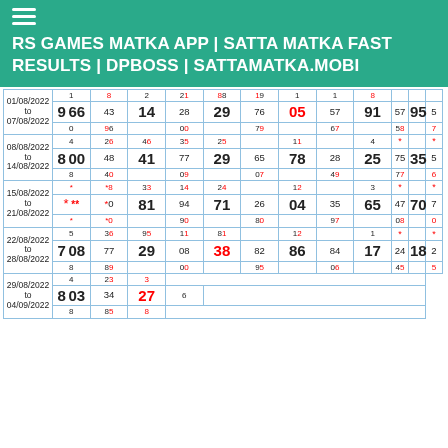RS GAMES MATKA APP | SATTA MATKA FAST RESULTS | DPBOSS | SATTAMATKA.MOBI
| Date | Col1 | Col2 | Col3 | Col4 | Col5 | Col6 | Col7 | Col8 | Col9 |
| --- | --- | --- | --- | --- | --- | --- | --- | --- | --- |
| 01/08/2022 to 07/08/2022 | 9 66 0 | 4 3 9 6 | 14  | 28 29 00 | 76 05 79 | 57 91 67 | 57 95 58 | 5 7 | **  | * |
| 08/08/2022 to 14/08/2022 | 8 00 8 | 4 8 4 0 | 41  | 77 29 09 | 65 78 07 | 28 25 49 | 75 35 77 | 5 6 | **  | * |
| 15/08/2022 to 21/08/2022 | * ** * | *0 0 | 81  | 94 71 90 | 26 04 80 | 35 65 97 | 47 70 08 | 7 0 | **  | * |
| 22/08/2022 to 28/08/2022 | 7 08 8 | 3 7 8 9 | 29  | 08 38 00 | 82 86 95 | 84 17 06 | 24 18 45 | 2 5 | **  | * |
| 29/08/2022 to 04/09/2022 | 8 03 8 | 2 3 4 8 5 | 27  | 3 6 8 |  |  |  |  |  |  |